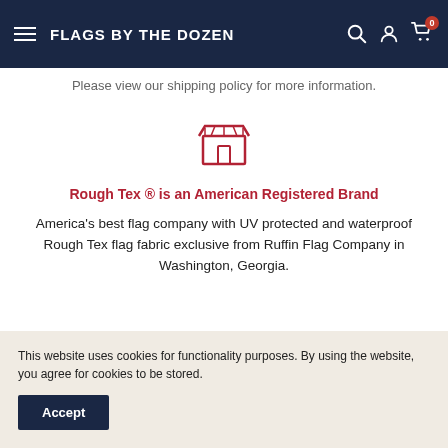FLAGS BY THE DOZEN
Please view our shipping policy for more information.
[Figure (illustration): Red outlined store/shop icon]
Rough Tex ® is an American Registered Brand
America's best flag company with UV protected and waterproof Rough Tex flag fabric exclusive from Ruffin Flag Company in Washington, Georgia.
[Figure (illustration): Red outlined secure payment / locked card icon]
This website uses cookies for functionality purposes. By using the website, you agree for cookies to be stored.